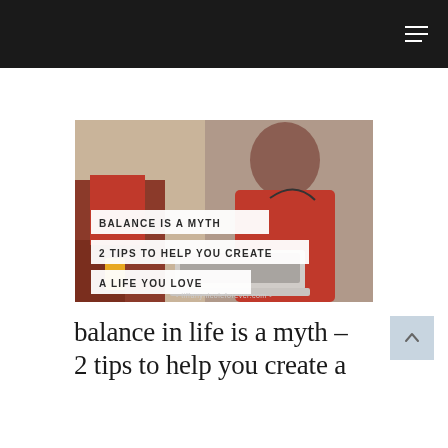[Figure (photo): A woman wearing a red top and headphones, sitting on a couch and typing on a laptop. The image has white text overlays reading: 'BALANCE IS A MYTH', '2 TIPS TO HELP YOU CREATE', 'A LIFE YOU LOVE', and '- tiffanynicoleforever.com -']
balance in life is a myth – 2 tips to help you create a